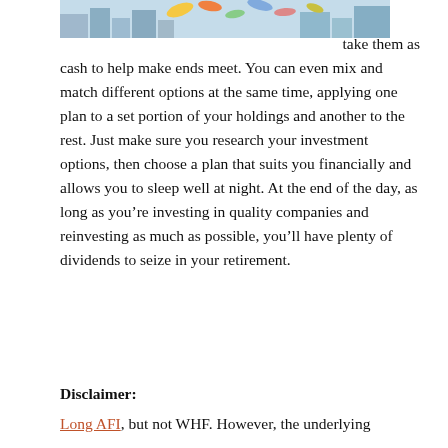[Figure (illustration): Colorful illustration showing paper money or flags flying above city buildings]
take them as cash to help make ends meet. You can even mix and match different options at the same time, applying one plan to a set portion of your holdings and another to the rest. Just make sure you research your investment options, then choose a plan that suits you financially and allows you to sleep well at night. At the end of the day, as long as you're investing in quality companies and reinvesting as much as possible, you'll have plenty of dividends to seize in your retirement.
Disclaimer:
Long AFI, but not WHF. However, the underlying